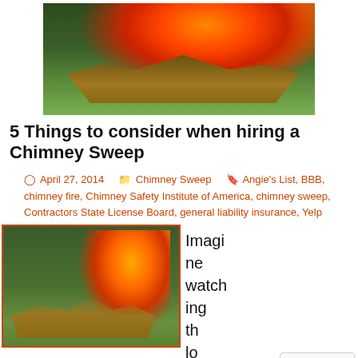[Figure (photo): House engulfed in flames with fire shooting from roof, surrounded by trees, a hose spraying water visible]
5 Things to consider when hiring a Chimney Sweep
April 27, 2014  Chimney Sweep  Angie's List, BBB, chimney fire, Chimney Safety Institute of America, chimney sweep, Contractors State License Board, general liability insurance, Yelp
[Figure (photo): House on fire with flames shooting out, surrounded by trees, fire hose visible spraying water]
Imagine watching th lo ev